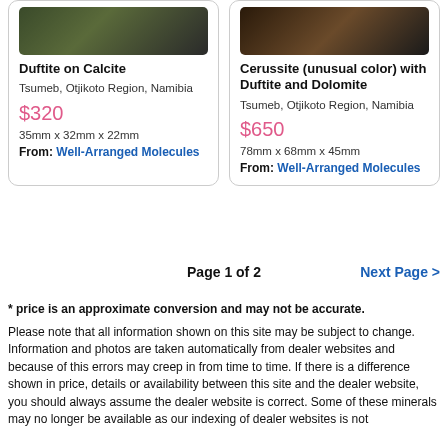[Figure (photo): Photo of Duftite on Calcite mineral specimen against dark background]
Duftite on Calcite
Tsumeb, Otjikoto Region, Namibia
$320
35mm x 32mm x 22mm
From: Well-Arranged Molecules
[Figure (photo): Photo of Cerussite with Duftite and Dolomite mineral specimen against dark background]
Cerussite (unusual color) with Duftite and Dolomite
Tsumeb, Otjikoto Region, Namibia
$650
78mm x 68mm x 45mm
From: Well-Arranged Molecules
Page 1 of 2
Next Page >
* price is an approximate conversion and may not be accurate.
Please note that all information shown on this site may be subject to change. Information and photos are taken automatically from dealer websites and because of this errors may creep in from time to time. If there is a difference shown in price, details or availability between this site and the dealer website, you should always assume the dealer website is correct. Some of these minerals may no longer be available as our indexing of dealer websites is not